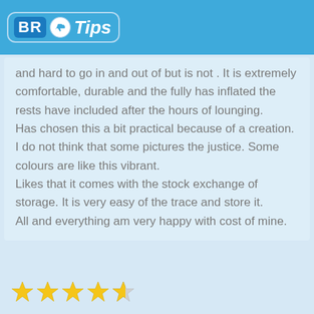BR Tips
and hard to go in and out of but is not . It is extremely comfortable, durable and the fully has inflated the rests have included after the hours of lounging.
Has chosen this a bit practical because of a creation. I do not think that some pictures the justice. Some colours are like this vibrant.
Likes that it comes with the stock exchange of storage. It is very easy of the trace and store it.
All and everything am very happy with cost of mine.
[Figure (other): Star rating row at the bottom, showing approximately 4 out of 5 stars in gold/yellow]